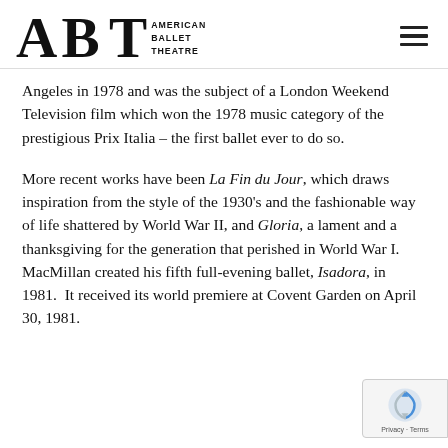ABT American Ballet Theatre
Angeles in 1978 and was the subject of a London Weekend Television film which won the 1978 music category of the prestigious Prix Italia – the first ballet ever to do so.
More recent works have been La Fin du Jour, which draws inspiration from the style of the 1930's and the fashionable way of life shattered by World War II, and Gloria, a lament and a thanksgiving for the generation that perished in World War I.  MacMillan created his fifth full-evening ballet, Isadora, in 1981.  It received its world premiere at Covent Garden on April 30, 1981.